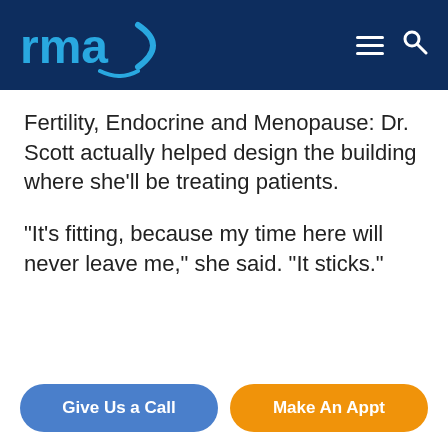rma
Fertility, Endocrine and Menopause: Dr. Scott actually helped design the building where she’ll be treating patients.
“It’s fitting, because my time here will never leave me,” she said. “It sticks.”